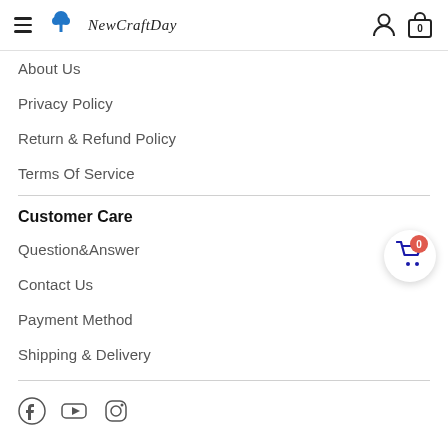NewCraftDay
About Us
Privacy Policy
Return & Refund Policy
Terms Of Service
Customer Care
Question&Answer
Contact Us
Payment Method
Shipping & Delivery
[Figure (illustration): Social media icons row (Facebook, YouTube, Instagram)]